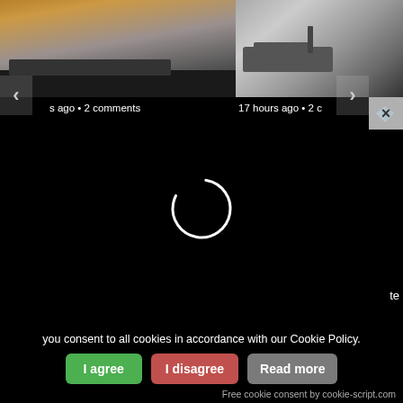[Figure (screenshot): Video thumbnail showing smoke/explosion scene on left, and military tank on right, part of a news/media website carousel]
s ago • 2 comments
17 hours ago • 2 c
[Figure (screenshot): Black video player area with white loading spinner circle and blue Telegram icon in top-right corner]
te
you consent to all cookies in accordance with our Cookie Policy.
I agree
I disagree
Read more
Free cookie consent by cookie-script.com